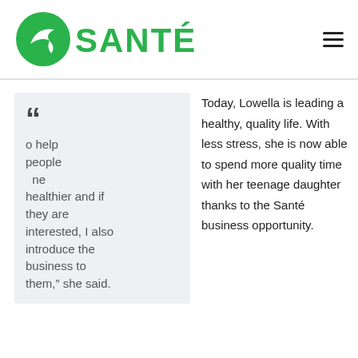[Figure (logo): Santé logo — green circle with white bird silhouette and green bold text SANTÉ with accent on E]
o help people ne healthier and if they are interested, I also introduce the business to them,” she said.
Today, Lowella is leading a healthy, quality life. With less stress, she is now able to spend more quality time with her teenage daughter thanks to the Santé business opportunity.